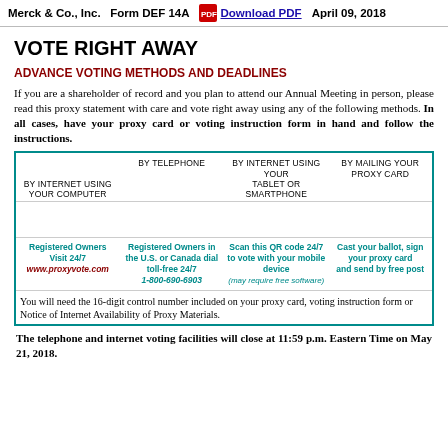Merck & Co., Inc.   Form DEF 14A   Download PDF   April 09, 2018
VOTE RIGHT AWAY
ADVANCE VOTING METHODS AND DEADLINES
If you are a shareholder of record and you plan to attend our Annual Meeting in person, please read this proxy statement with care and vote right away using any of the following methods. In all cases, have your proxy card or voting instruction form in hand and follow the instructions.
| BY INTERNET USING YOUR COMPUTER | BY TELEPHONE | BY INTERNET USING YOUR TABLET OR SMARTPHONE | BY MAILING YOUR PROXY CARD |
| --- | --- | --- | --- |
| Registered Owners Visit 24/7
www.proxyvote.com | Registered Owners in the U.S. or Canada dial toll-free 24/7
1-800-690-6903 | Scan this QR code 24/7
to vote with your mobile device
(may require free software) | Cast your ballot, sign your proxy card
and send by free post |
You will need the 16-digit control number included on your proxy card, voting instruction form or Notice of Internet Availability of Proxy Materials.
The telephone and internet voting facilities will close at 11:59 p.m. Eastern Time on May 21, 2018.